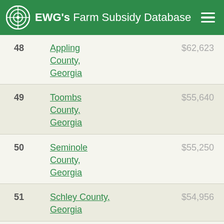EWG's Farm Subsidy Database
| Rank | County | Amount |
| --- | --- | --- |
| 48 | Appling County, Georgia | $62,623 |
| 49 | Toombs County, Georgia | $55,640 |
| 50 | Seminole County, Georgia | $55,250 |
| 51 | Schley County, Georgia | $54,956 |
| 52 | Jeff Davis County, | $51,207 |